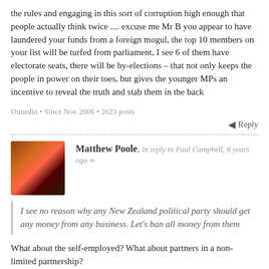the rules and engaging in this sort of corruption high enough that people actually think twice .... excuse me Mr B you appear to have laundered your funds from a foreign mogul, the top 10 members on your list will be turfed from parliament, I see 6 of them have electorate seats, there will be by-elections – that not only keeps the people in power on their toes, but gives the younger MPs an incentive to reveal the truth and stab them in the back
Dunedin • Since Nov 2006 • 2623 posts
Reply
Matthew Poole, in reply to Paul Campbell, 8 years ago ∞
I see no reason why any New Zealand political party should get any money from any business. Let's ban all money from them
What about the self-employed? What about partners in a non-limited partnership?